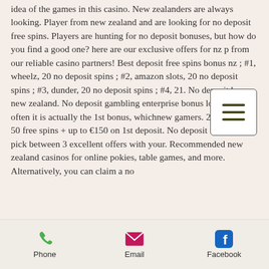idea of the games in this casino. New zealanders are always looking. Player from new zealand and are looking for no deposit free spins. Players are hunting for no deposit bonuses, but how do you find a good one? here are our exclusive offers for nz p from our reliable casino partners! Best deposit free spins bonus nz ; #1, wheelz, 20 no deposit spins ; #2, amazon slots, 20 no deposit spins ; #3, dunder, 20 no deposit spins ; #4, 21. No deposit bonus new zealand. No deposit gambling enterprise bonus loan –- most often it is actually the 1st bonus, whichnew gamers. 2 years ago! 50 free spins + up to €150 on 1st deposit. No deposit free spins + pick between 3 excellent offers with your. Recommended new zealand casinos for online pokies, table games, and more. Alternatively, you can claim a no
[Figure (other): Hamburger menu button icon — three horizontal dark olive lines on white rounded rectangle]
Phone   Email   Facebook